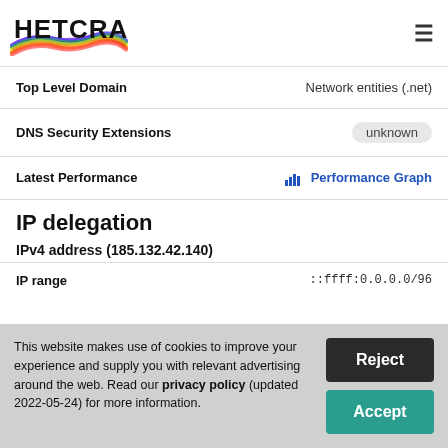[Figure (logo): Netcraft logo with rainbow brush stroke and black text]
| Field | Value |
| --- | --- |
| Top Level Domain | Network entities (.net) |
| DNS Security Extensions | unknown |
| Latest Performance | Performance Graph |
IP delegation
IPv4 address (185.132.42.140)
| Field | Value |
| --- | --- |
| IP range | ::ffff:0.0.0.0/96 |
This website makes use of cookies to improve your experience and supply you with relevant advertising around the web. Read our privacy policy (updated 2022-05-24) for more information.